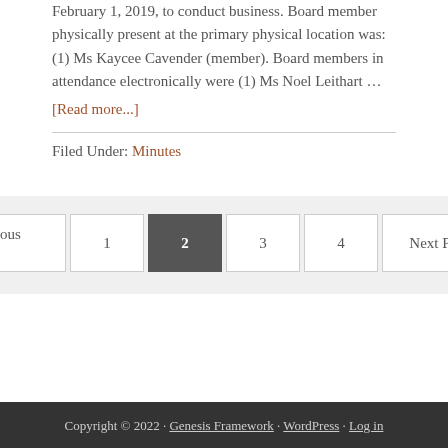February 1, 2019, to conduct business. Board member physically present at the primary physical location was: (1) Ms Kaycee Cavender (member). Board members in attendance electronically were (1) Ms Noel Leithart …
[Read more...]
Filed Under: Minutes
« Previous Page  1  2  3  4  Next Page »
Copyright © 2022 · Genesis Framework · WordPress · Log in